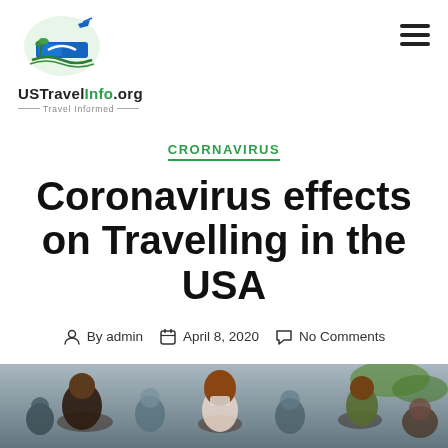[Figure (logo): USTravelInfo.org logo with Travel Informed tagline and travel-themed icon]
CRORNAVIRUS
Coronavirus effects on Travelling in the USA
By admin   April 8, 2020   No Comments
[Figure (photo): Crowd of people outdoors, some wearing face masks, photographed from above at an angle]